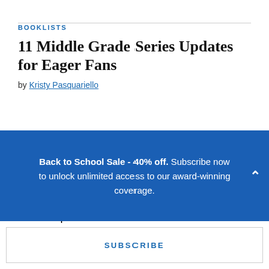BOOKLISTS
11 Middle Grade Series Updates for Eager Fans
by Kristy Pasquariello
INDUSTRY NEWS
Edmodo to Shut Down; Center for Antiracist Education Ends its Work |
Back to School Sale - 40% off. Subscribe now to unlock unlimited access to our award-winning coverage.
SUBSCRIBE